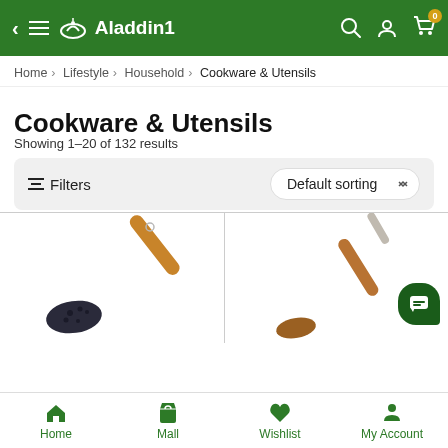Aladdin1
Home > Lifestyle > Household > Cookware & Utensils
Cookware & Utensils
Showing 1–20 of 132 results
Filters   Default sorting
[Figure (photo): Two cooking utensils (spatulas/ladles with wooden handles) shown in a product listing grid]
Home   Mall   Wishlist   My Account